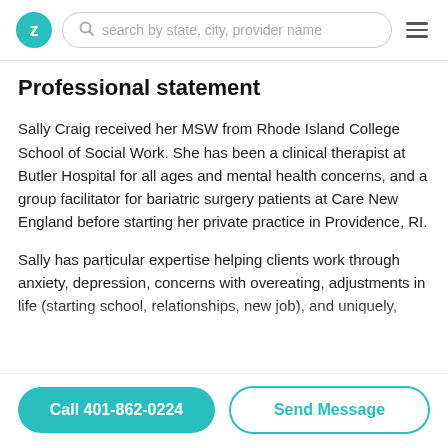Z | search by state, city, provider name | menu
Professional statement
Sally Craig received her MSW from Rhode Island College School of Social Work. She has been a clinical therapist at Butler Hospital for all ages and mental health concerns, and a group facilitator for bariatric surgery patients at Care New England before starting her private practice in Providence, RI.
Sally has particular expertise helping clients work through anxiety, depression, concerns with overeating, adjustments in life (starting school, relationships, new job), and uniquely, infertility and reproductive counseling. She is a...
Call 401-862-0224 | Send Message